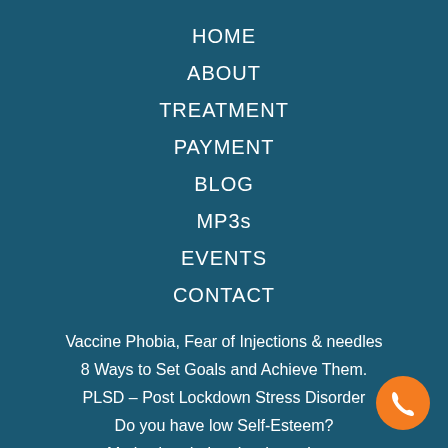HOME
ABOUT
TREATMENT
PAYMENT
BLOG
MP3s
EVENTS
CONTACT
Vaccine Phobia, Fear of Injections & needles
8 Ways to Set Goals and Achieve Them.
PLSD – Post Lockdown Stress Disorder
Do you have low Self-Esteem?
Motivation during the down times
[Figure (illustration): Orange circular phone call button icon in the bottom right corner]